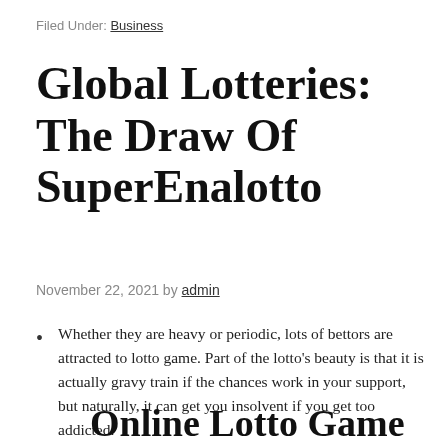Filed Under: Business
Global Lotteries: The Draw Of SuperEnalotto
November 22, 2021 by admin
Whether they are heavy or periodic, lots of bettors are attracted to lotto game. Part of the lotto's beauty is that it is actually gravy train if the chances work in your support, but naturally, it can get you insolvent if you get too addicted.
Online Lotto Game Results: If You